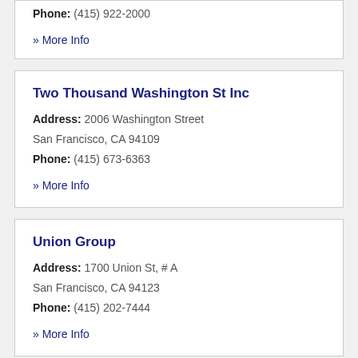Phone: (415) 922-2000
» More Info
Two Thousand Washington St Inc
Address: 2006 Washington Street San Francisco, CA 94109
Phone: (415) 673-6363
» More Info
Union Group
Address: 1700 Union St, # A San Francisco, CA 94123
Phone: (415) 202-7444
» More Info